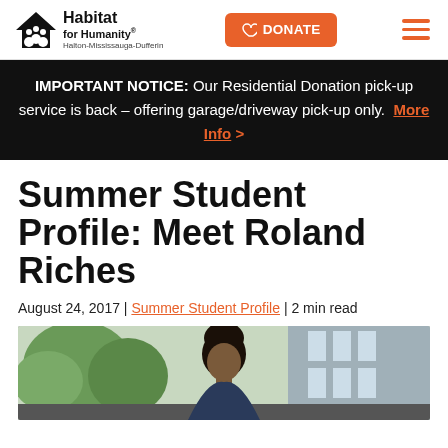Habitat for Humanity Halton-Mississauga-Dufferin | DONATE
IMPORTANT NOTICE: Our Residential Donation pick-up service is back – offering garage/driveway pick-up only. More Info >
Summer Student Profile: Meet Roland Riches
August 24, 2017 | Summer Student Profile | 2 min read
[Figure (photo): Photo of Roland Riches, a summer student, standing outdoors in front of a building with trees in the background]